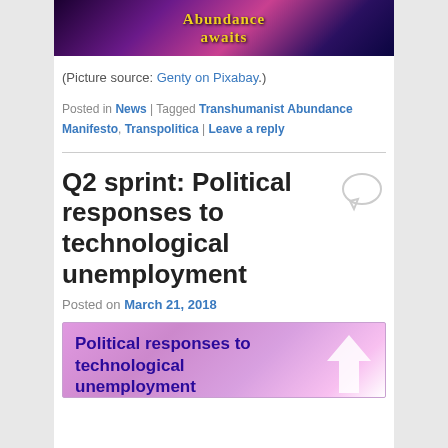[Figure (illustration): Banner image with space/nebula background in purple and pink tones with yellow text 'Abundance awaits']
(Picture source: Genty on Pixabay.)
Posted in News | Tagged Transhumanist Abundance Manifesto, Transpolitica | Leave a reply
Q2 sprint: Political responses to technological unemployment
Posted on March 21, 2018
[Figure (illustration): Pink/purple gradient image with text 'Political responses to technological unemployment' in dark blue and a white upward arrow]